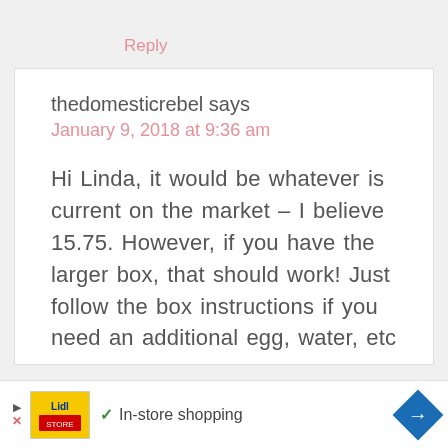Reply
thedomesticrebel says
January 9, 2018 at 9:36 am
Hi Linda, it would be whatever is current on the market – I believe 15.75. However, if you have the larger box, that should work! Just follow the box instructions if you need an additional egg, water, etc
[Figure (screenshot): Advertisement bar at the bottom showing a Lidl store logo, a checkmark with 'In-store shopping' text, and a blue diamond-shaped navigation arrow on the right.]